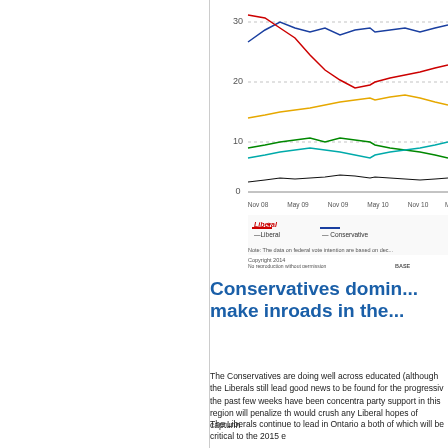[Figure (line-chart): Multi-series line chart showing federal vote intention over time (Nov 08 to May 11+) for Liberal (red), Conservative (blue), NDP (orange/yellow), Bloc (green), Green (teal), and Other (black) parties.]
Conservatives domin... make inroads in the...
The Conservatives are doing well across educated (although the Liberals still lead good news to be found for the progressiv the past few weeks have been concentra party support in this region will penalize th would crush any Liberal hopes of capturin
The Liberals continue to lead in Ontario a both of which will be critical to the 2015 e